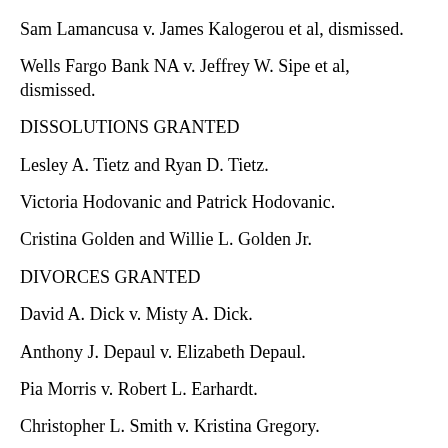Sam Lamancusa v. James Kalogerou et al, dismissed.
Wells Fargo Bank NA v. Jeffrey W. Sipe et al, dismissed.
DISSOLUTIONS GRANTED
Lesley A. Tietz and Ryan D. Tietz.
Victoria Hodovanic and Patrick Hodovanic.
Cristina Golden and Willie L. Golden Jr.
DIVORCES GRANTED
David A. Dick v. Misty A. Dick.
Anthony J. Depaul v. Elizabeth Depaul.
Pia Morris v. Robert L. Earhardt.
Christopher L. Smith v. Kristina Gregory.
DOMESTIC CASES DISMISSED
Wanda Collins v. Thomas Collins.